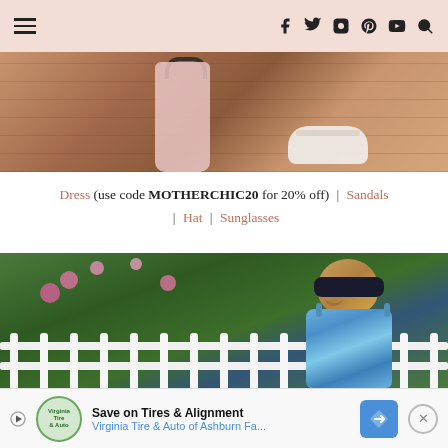Navigation header with hamburger menu and social icons (f, Twitter, Instagram, Pinterest, YouTube, Search)
[Figure (photo): Cropped photo showing lower half of people on a wooden deck: a child's legs, a pink dress with round bag handle, and white sandals on a woman's feet]
Dress (use code MOTHERCHIC20 for 20% off) | Sandals | Hat | Sunglasses
[Figure (photo): Woman with wavy blonde hair wearing large black sunglasses and a blue tie-dye dress, smiling, standing in front of a white picket fence with pink tropical flowers and green foliage in the background]
Save on Tires & Alignment — Virginia Tire & Auto of Ashburn Fa... (advertisement)